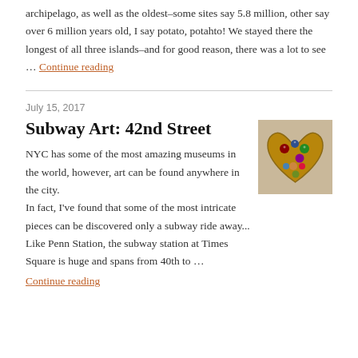archipelago, as well as the oldest–some sites say 5.8 million, other say over 6 million years old, I say potato, potahto!  We stayed there the longest of all three islands–and for good reason, there was a lot to see … Continue reading
July 15, 2017
Subway Art: 42nd Street
[Figure (photo): A decorative image showing colorful round decorative items arranged in a heart-shaped gold frame on a newspaper background]
NYC has some of the most amazing museums in the world, however, art can be found anywhere in the city.  In fact, I've found that some of the most intricate pieces can be discovered only a subway ride away... Like Penn Station, the subway station at Times Square is huge and spans from 40th to … Continue reading